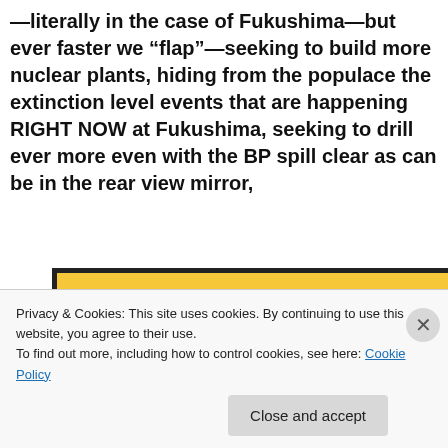—literally in the case of Fukushima—but ever faster we “flap”—seeking to build more nuclear plants, hiding from the populace the extinction level events that are happening RIGHT NOW at Fukushima, seeking to drill ever more even with the BP spill clear as can be in the rear view mirror,
[Figure (illustration): Illustration showing stylized leaves and bird-like shapes flapping against a yellow-orange gradient background, with a dark border frame.]
Privacy & Cookies: This site uses cookies. By continuing to use this website, you agree to their use.
To find out more, including how to control cookies, see here: Cookie Policy